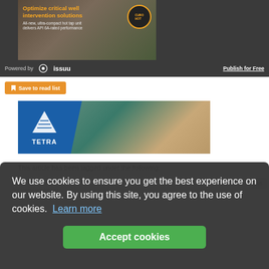[Figure (screenshot): Advertisement banner for well intervention solutions with yellow text 'Optimize critical well intervention solutions' and subtitle 'All-new, ultra-compact hot tap unit delivers API 6A-rated performance' with a round logo on a dark earthy background.]
Powered by issuu   Publish for Free
[Figure (screenshot): Save to read list orange button with bookmark icon]
[Figure (logo): TETRA advertisement banner with blue TETRA logo on left and aerial photo of industrial ponds on right]
This article has been tagged under the following:
[Figure (screenshot): Cookie consent overlay with text: We use cookies to ensure you get the best experience on our website. By using this site, you agree to the use of cookies. Learn more — with green Accept cookies button]